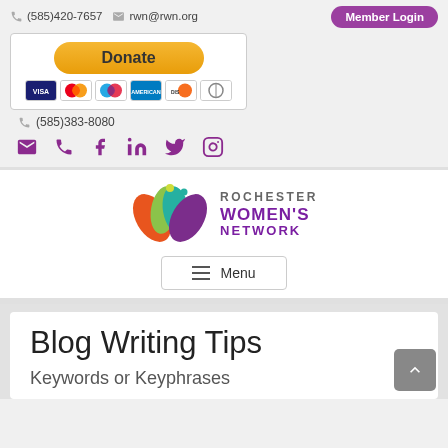(585)420-7657  rwn@rwn.org  Member Login
[Figure (other): Donate button with PayPal and credit card icons (Visa, Mastercard, Maestro, American Express, Discover, Diners Club)]
(585)383-8080
[Figure (other): Social media icons: email, phone, Facebook, LinkedIn, Twitter, Instagram]
[Figure (logo): Rochester Women's Network logo with colorful leaf/petal shapes in orange, green, teal, and purple]
Menu
Blog Writing Tips
Keywords or Keyphrases